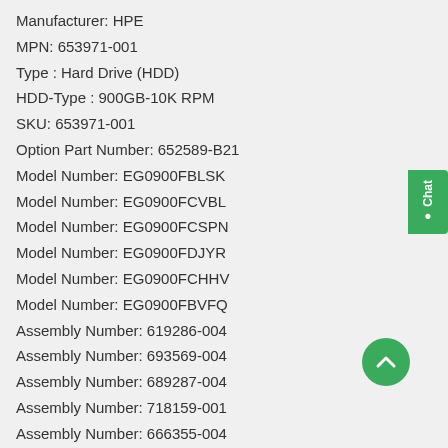Manufacturer: HPE
MPN: 653971-001
Type : Hard Drive (HDD)
HDD-Type : 900GB-10K RPM
SKU: 653971-001
Option Part Number: 652589-B21
Model Number: EG0900FBLSK
Model Number: EG0900FCVBL
Model Number: EG0900FCSPN
Model Number: EG0900FDJYR
Model Number: EG0900FCHHV
Model Number: EG0900FBVFQ
Assembly Number: 619286-004
Assembly Number: 693569-004
Assembly Number: 689287-004
Assembly Number: 718159-001
Assembly Number: 666355-004
Assembly Number: 641552-004
Manufacturer Website Address : www.hpe.com